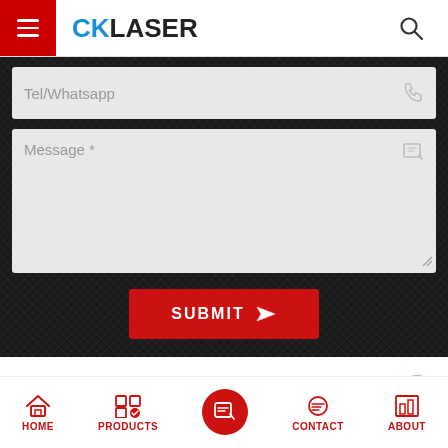CK LASER
Tel/Whatsapp
Message *
SUBMIT
RELATED PRODUCTS
HOME | PRODUCTS | CONTACT | ABOUT